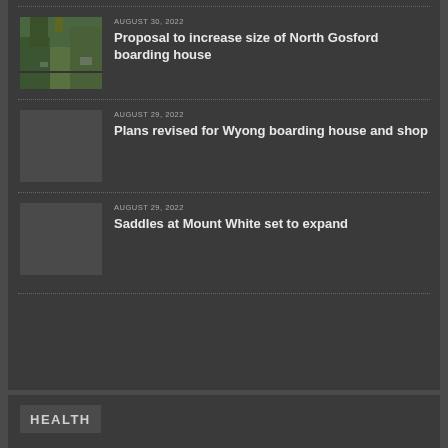[Figure (photo): Aerial view of North Gosford boarding house site with greenery and road]
AUGUST 30, 2022
Proposal to increase size of North Gosford boarding house
AUGUST 29, 2022
Plans revised for Wyong boarding house and shop
AUGUST 29, 2022
Saddles at Mount White set to expand
HEALTH